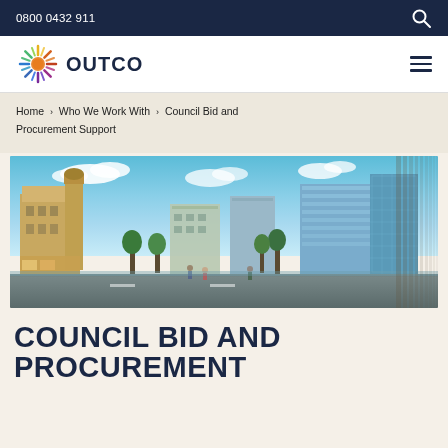0800 0432 911
[Figure (logo): Outco company logo with colourful circular sunburst icon and dark blue OUTCO wordmark]
Home > Who We Work With > Council Bid and Procurement Support
[Figure (photo): Panoramic cityscape photo showing a UK city centre with historic stone buildings on the left, modern glass buildings on the right, a road with pedestrians, trees, and a blue sky with clouds]
COUNCIL BID AND PROCUREMENT